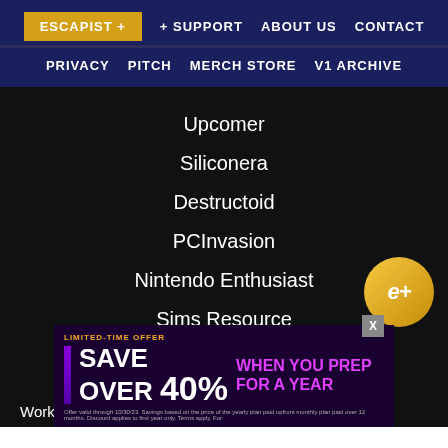ESCAPIST + | + SUPPORT | ABOUT US | CONTACT | PRIVACY | PITCH | MERCH STORE | V1 ARCHIVE
Upcomer
Siliconera
Destructoid
PCInvasion
Nintendo Enthusiast
Sims Resource
Operation Sports
Work With ... ive Here.
[Figure (screenshot): Limited-time offer ad banner: SAVE OVER 40% WHEN YOU PREP FOR A YEAR]